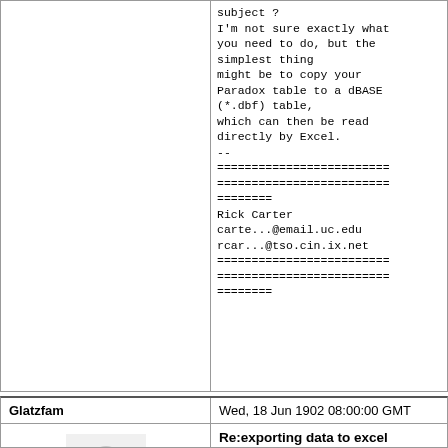subject ?
I'm not sure exactly what you need to do, but the simplest thing
might be to copy your Paradox table to a dBASE (*.dbf) table,
which can then be read directly by Excel.
--
=========================
=========================
========
Rick Carter
carte...@email.uc.edu
rcar...@tso.cin.ix.net
=========================
=========================
========
Glatzfam
Wed, 18 Jun 1902 08:00:00 GMT
Delphi Developer
Re:exporting data to excel sheets
Or you could create a comma separated file